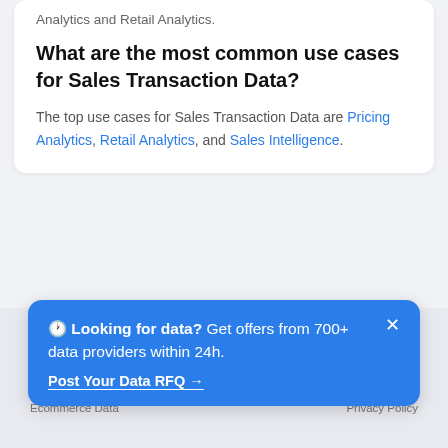Analytics and Retail Analytics.
What are the most common use cases for Sales Transaction Data?
The top use cases for Sales Transaction Data are Pricing Analytics, Retail Analytics, and Sales Intelligence.
Popular Categories
Datarade
🕐 Looking for data? Get offers from 700+ data providers within 24h.
Post Your Data RFQ →
Ecommerce Data
Privacy Policy